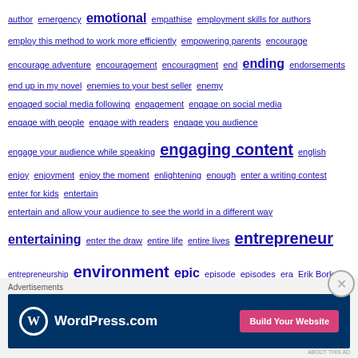author emergency emotional empathise employment skills for authors employ this method to work more efficiently empowering parents encourage encourage adventure encouragement encouragment end ending endorsements end up in my novel enemies to your best seller enemy engaged social media following engagement engage on social media engage with people engage with readers engage you audience engage your audience while speaking engaging content english enjoy enjoyment enjoy the moment enlightening enough enter a writing contest enter for kids entertain entertain and allow your audience to see the world in a different way entertaining enter the draw entire life entire lives entrepreneur entrepreneurship environment epic episode episodes era Erik Bork erin Erin Cutler erotica escape escape into a book escapism essential essential for growth essential information to your survival as an author essential parts essential tips ethiopia euromarketing for authors evaluator Evanoff event event attendance event education event red flags events events and festivals event schedule every day everyone would do it every parent's worst nightmare everything in between everything is about
Advertisements
[Figure (other): WordPress.com advertisement banner with logo and 'Build Your Website' button]